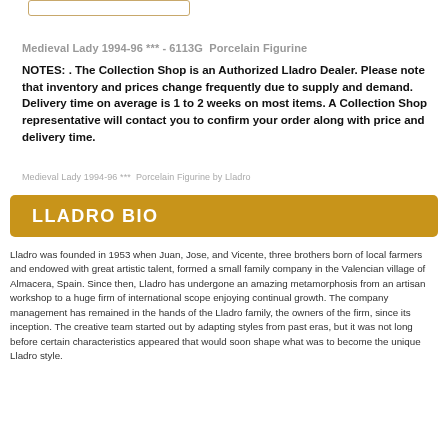Medieval Lady 1994-96 *** - 6113G  Porcelain Figurine
NOTES: . The Collection Shop is an Authorized Lladro Dealer. Please note that inventory and prices change frequently due to supply and demand. Delivery time on average is 1 to 2 weeks on most items. A Collection Shop representative will contact you to confirm your order along with price and delivery time.
Medieval Lady 1994-96 ***  Porcelain Figurine by Lladro
LLADRO BIO
Lladro was founded in 1953 when Juan, Jose, and Vicente, three brothers born of local farmers and endowed with great artistic talent, formed a small family company in the Valencian village of Almacera, Spain. Since then, Lladro has undergone an amazing metamorphosis from an artisan workshop to a huge firm of international scope enjoying continual growth. The company management has remained in the hands of the Lladro family, the owners of the firm, since its inception. The creative team started out by adapting styles from past eras, but it was not long before certain characteristics appeared that would soon shape what was to become the unique Lladro style.